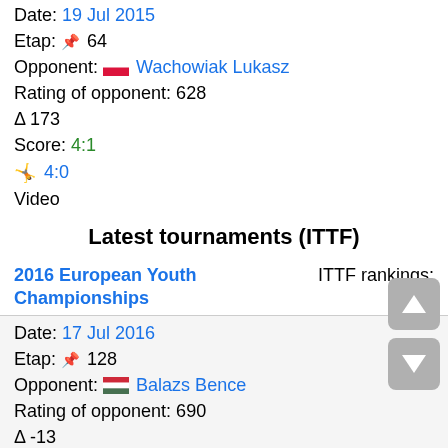Date: 19 Jul 2015
Etap: 📌 64
Opponent: 🇵🇱 Wachowiak Lukasz
Rating of opponent: 628
Δ 173
Score: 4:1
🤸 4:0
Video
Latest tournaments (ITTF)
2016 European Youth Championships — ITTF rankings: 703
Date: 17 Jul 2016
Etap: 📌 128
Opponent: 🇭🇺 Balazs Bence
Rating of opponent: 690
Δ -13
Score: 3:1